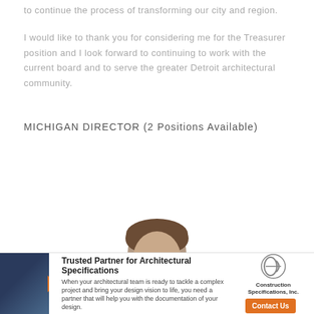to continue the process of transforming our city and region.
I would like to thank you for considering me for the Treasurer position and I look forward to continuing to work with the current board and to serve the greater Detroit architectural community.
MICHIGAN DIRECTOR (2 Positions Available)
[Figure (photo): Partial photo of a person showing the top of their head with brown hair]
[Figure (infographic): Advertisement banner: Trusted Partner for Architectural Specifications - Construction Specifications, Inc. with Contact Us button]